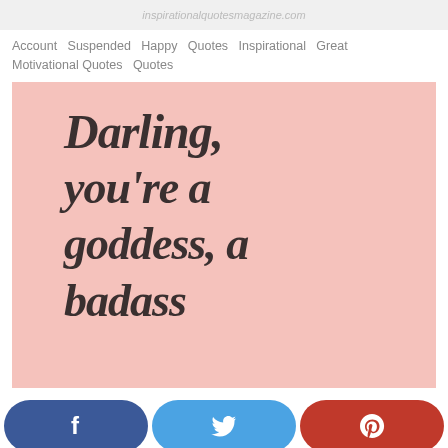inspirationalquotesmagazine.com
Account Suspended Happy Quotes Inspirational Great Motivational Quotes Quotes
[Figure (illustration): Pink background inspirational quote image with cursive text reading 'Darling, you're a goddess, a badass' in dark charcoal color]
Facebook, Twitter, Pinterest social share buttons